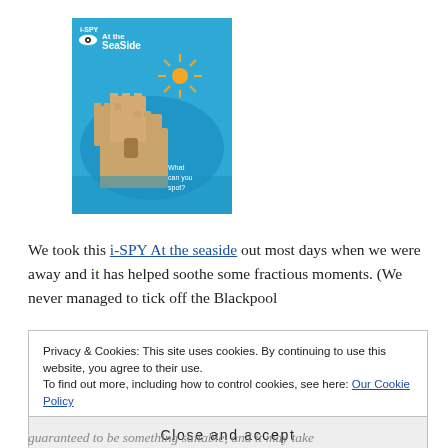[Figure (photo): Book cover of 'i-SPY At the Seaside' featuring a sandcastle on a blue background with the text 'What can you spot?']
We took this i-SPY At the seaside out most days when we were away and it has helped soothe some fractious moments. (We never managed to tick off the Blackpool
Privacy & Cookies: This site uses cookies. By continuing to use this website, you agree to their use.
To find out more, including how to control cookies, see here: Our Cookie Policy
Close and accept
guaranteed to be something suitable, and it may take